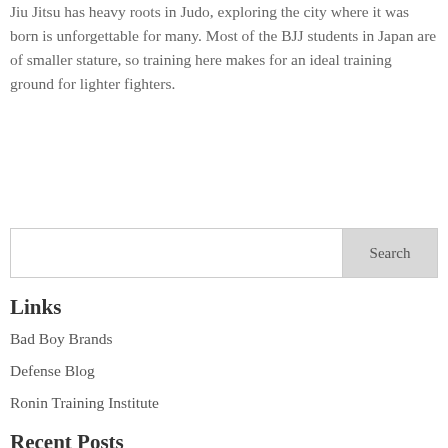Jiu Jitsu has heavy roots in Judo, exploring the city where it was born is unforgettable for many. Most of the BJJ students in Japan are of smaller stature, so training here makes for an ideal training ground for lighter fighters.
Links
Bad Boy Brands
Defense Blog
Ronin Training Institute
Recent Posts